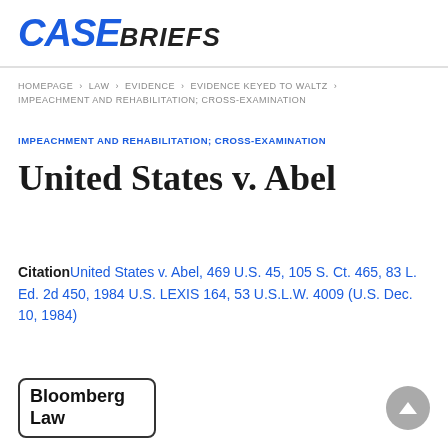CASEBRIEFS
HOMEPAGE > LAW > EVIDENCE > EVIDENCE KEYED TO WALTZ > IMPEACHMENT AND REHABILITATION; CROSS-EXAMINATION
IMPEACHMENT AND REHABILITATION; CROSS-EXAMINATION
United States v. Abel
Citation United States v. Abel, 469 U.S. 45, 105 S. Ct. 465, 83 L. Ed. 2d 450, 1984 U.S. LEXIS 164, 53 U.S.L.W. 4009 (U.S. Dec. 10, 1984)
[Figure (logo): Bloomberg Law logo in a rounded rectangle box]
[Figure (other): Gray circular scroll-to-top button with upward triangle arrow]